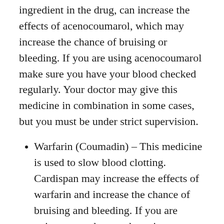ingredient in the drug, can increase the effects of acenocoumarol, which may increase the chance of bruising or bleeding. If you are using acenocoumarol make sure you have your blood checked regularly. Your doctor may give this medicine in combination in some cases, but you must be under strict supervision.
Warfarin (Coumadin) – This medicine is used to slow blood clotting. Cardispan may increase the effects of warfarin and increase the chance of bruising and bleeding. If you are going to use the two drugs in combination, follow your doctor's instructions exactly.
Thyroid hormone – Cardispan may prevent thyroid hormone from working in the body. Taking this medicine with thyroid hormone might decrease the